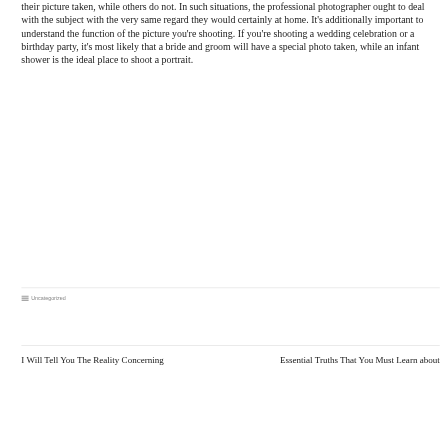their picture taken, while others do not. In such situations, the professional photographer ought to deal with the subject with the very same regard they would certainly at home. It's additionally important to understand the function of the picture you're shooting. If you're shooting a wedding celebration or a birthday party, it's most likely that a bride and groom will have a special photo taken, while an infant shower is the ideal place to shoot a portrait.
Uncategorized
I Will Tell You The Reality Concerning
Essential Truths That You Must Learn about